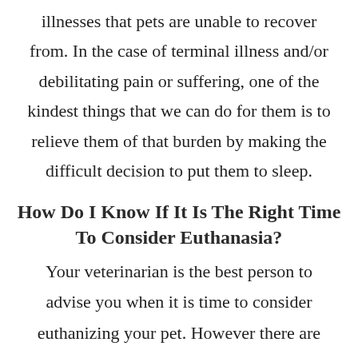illnesses that pets are unable to recover from. In the case of terminal illness and/or debilitating pain or suffering, one of the kindest things that we can do for them is to relieve them of that burden by making the difficult decision to put them to sleep.
How Do I Know If It Is The Right Time To Consider Euthanasia?
Your veterinarian is the best person to advise you when it is time to consider euthanizing your pet. However there are also some signs and symptoms that your pet